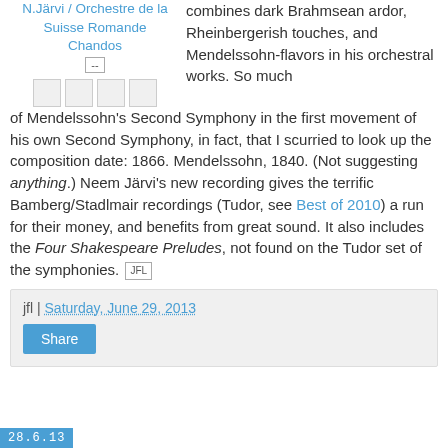N.Järvi / Orchestre de la Suisse Romande
Chandos
[Figure (other): Small button/badge with '--' text and a row of four small icon squares]
combines dark Brahmsean ardor, Rheinbergerish touches, and Mendelssohn-flavors in his orchestral works. So much of Mendelssohn's Second Symphony in the first movement of his own Second Symphony, in fact, that I scurried to look up the composition date: 1866. Mendelssohn, 1840. (Not suggesting anything.) Neem Järvi's new recording gives the terrific Bamberg/Stadlmair recordings (Tudor, see Best of 2010) a run for their money, and benefits from great sound. It also includes the Four Shakespeare Preludes, not found on the Tudor set of the symphonies. [JFL]
jfl | Saturday, June 29, 2013
Share